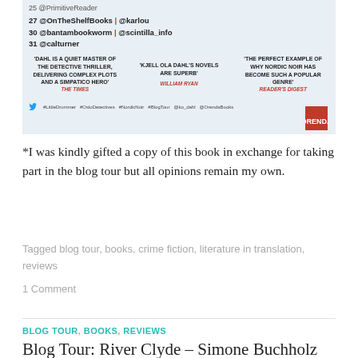[Figure (photo): Blog tour banner image for a book by Kjell Ola Dahl, showing schedule entries (27 @OnTheShelfBooks | @karlou, 30 @bantambookworm | @scintilla_info, 31 @calturner), three review quotes ('Dahl is a quiet master of the detective thriller, delivering complex plots and a simpatico hero' The Times; 'Kjell Ola Dahl's novels are superb' William Ryan; 'The perfect example of why Nordic noir has become such a popular genre' Reader's Digest), hashtags (#LittleDrummer #OsloDetectives #NordicNoir #BlogTour @ko_dahl @OrendaBooks), Orenda Books logo.]
*I was kindly gifted a copy of this book in exchange for taking part in the blog tour but all opinions remain my own.
Tagged blog tour, books, crime fiction, literature in translation, reviews
1 Comment
BLOG TOUR, BOOKS, REVIEWS
Blog Tour: River Clyde – Simone Buchholz